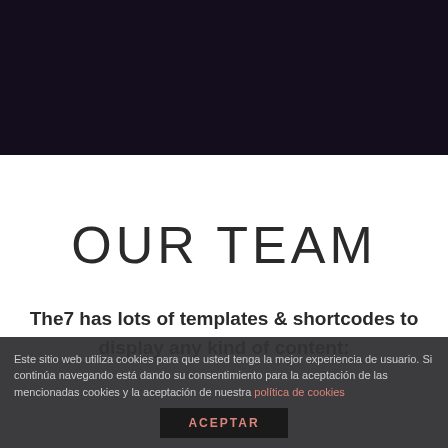[Figure (photo): Dark navy/purple background header section]
OUR TEAM
The7 has lots of templates & shortcodes to display any kind of content:
Este sitio web utiliza cookies para que usted tenga la mejor experiencia de usuario. Si continúa navegando está dando su consentimiento para la aceptación de las mencionadas cookies y la aceptación de nuestra política de cookies
ACEPTAR